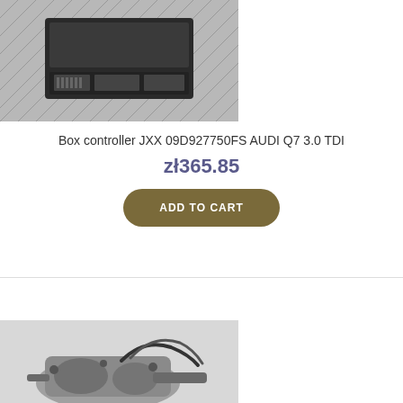[Figure (photo): Electronic control unit / box controller on a diamond-plate metal surface, viewed from above showing connector ports]
Box controller JXX 09D927750FS AUDI Q7 3.0 TDI
zł365.85
ADD TO CART
[Figure (photo): Automotive gearbox or differential assembly with hoses/cables, placed on a light grey surface]